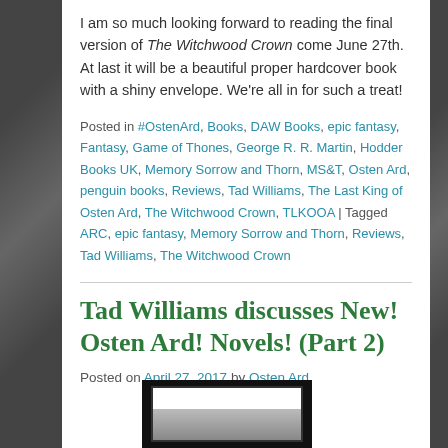I am so much looking forward to reading the final version of The Witchwood Crown come June 27th. At last it will be a beautiful proper hardcover book with a shiny envelope. We're all in for such a treat!
Posted in #OstenArd, Books, DAW Books, epic fantasy, Fantasy, Game of Thones, George R. R. Martin, Hodder Books UK, Memory Sorrow and Thorn, MS&T, Osten Ard, penguin books, Reviews, Tad Williams, The Last King of Osten Ard, The Witchwood Crown, TLKOOA | Tagged ARC, epic fantasy, Memory Sorrow and Thorn, Reviews, Tad Williams, The Witchwood Crown
Tad Williams discusses New! Osten Ard! Novels! (Part 2)
Posted on April 27, 2017 by Osten Ard
[Figure (photo): Partial thumbnail image at the bottom of the page, showing a framed image with a white interior area.]